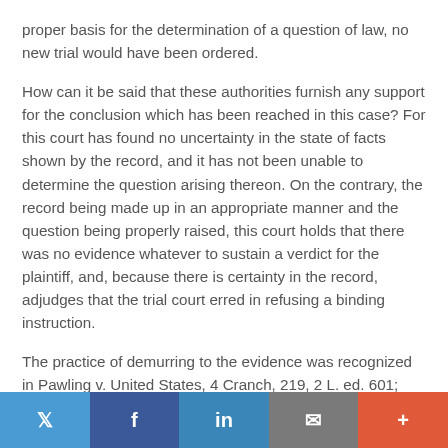proper basis for the determination of a question of law, no new trial would have been ordered.
How can it be said that these authorities furnish any support for the conclusion which has been reached in this case? For this court has found no uncertainty in the state of facts shown by the record, and it has not been unable to determine the question arising thereon. On the contrary, the record being made up in an appropriate manner and the question being properly raised, this court holds that there was no evidence whatever to sustain a verdict for the plaintiff, and, because there is certainty in the record, adjudges that the trial court erred in refusing a binding instruction.
The practice of demurring to the evidence was recognized in Pawling v. United States, 4 Cranch, 219, 2 L. ed. 601; Young v. Black, 7 Cranch, 565, 3 L. ed. 440; Bank of United States v.
Twitter | Facebook | LinkedIn | Email | Plus